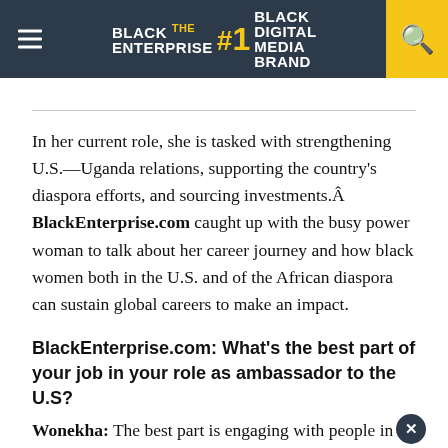BLACK ENTERPRISE THE #1 BLACK DIGITAL MEDIA BRAND
In her current role, she is tasked with strengthening U.S.—Uganda relations, supporting the country's diaspora efforts, and sourcing investments. BlackEnterprise.com caught up with the busy power woman to talk about her career journey and how black women both in the U.S. and of the African diaspora can sustain global careers to make an impact.
BlackEnterprise.com: What's the best part of your job in your role as ambassador to the U.S?
Wonekha: The best part is engaging with people in the U.S. Senate, Congress, Dept. of State, White